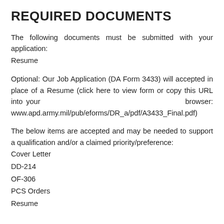REQUIRED DOCUMENTS
The following documents must be submitted with your application:
Resume
Optional: Our Job Application (DA Form 3433) will accepted in place of a Resume (click here to view form or copy this URL into your browser: www.apd.army.mil/pub/eforms/DR_a/pdf/A3433_Final.pdf)
The below items are accepted and may be needed to support a qualification and/or a claimed priority/preference:
Cover Letter
DD-214
OF-306
PCS Orders
Resume